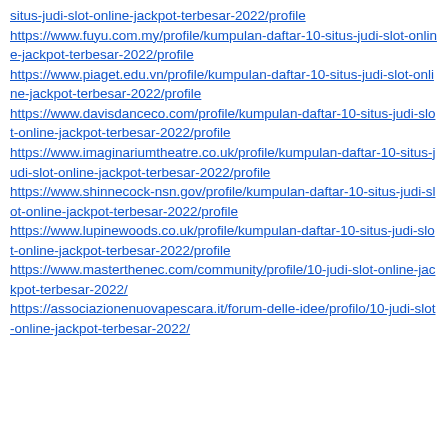situs-judi-slot-online-jackpot-terbesar-2022/profile
https://www.fuyu.com.my/profile/kumpulan-daftar-10-situs-judi-slot-online-jackpot-terbesar-2022/profile
https://www.piaget.edu.vn/profile/kumpulan-daftar-10-situs-judi-slot-online-jackpot-terbesar-2022/profile
https://www.davisdanceco.com/profile/kumpulan-daftar-10-situs-judi-slot-online-jackpot-terbesar-2022/profile
https://www.imaginariumtheatre.co.uk/profile/kumpulan-daftar-10-situs-judi-slot-online-jackpot-terbesar-2022/profile
https://www.shinnecock-nsn.gov/profile/kumpulan-daftar-10-situs-judi-slot-online-jackpot-terbesar-2022/profile
https://www.lupinewoods.co.uk/profile/kumpulan-daftar-10-situs-judi-slot-online-jackpot-terbesar-2022/profile
https://www.masterthenec.com/community/profile/10-judi-slot-online-jackpot-terbesar-2022/
https://associazionenuovapescara.it/forum-delle-idee/profilo/10-judi-slot-online-jackpot-terbesar-2022/